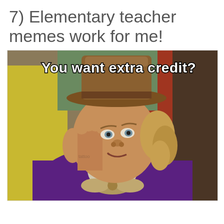7) Elementary teacher memes work for me!
[Figure (photo): Condescending Wonka meme image: a man in a brown top hat and purple velvet jacket, resting his chin on his hand with a sarcastic smirk, with the caption 'You want extra credit?' overlaid in bold white text at the top of the image.]